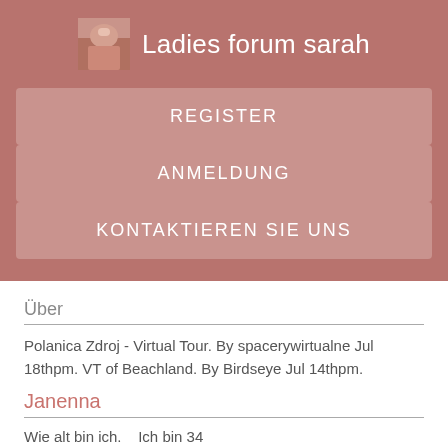Ladies forum sarah
REGISTER
ANMELDUNG
KONTAKTIEREN SIE UNS
Über
Polanica Zdroj - Virtual Tour. By spacerywirtualne Jul 18thpm. VT of Beachland. By Birdseye Jul 14thpm.
Janenna
Wie alt bin ich.   Ich bin 34